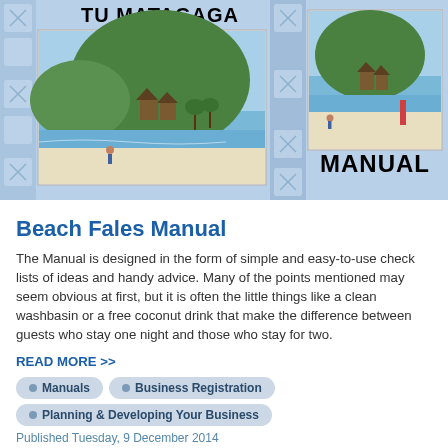[Figure (illustration): Book cover for 'Tu Matagaga Beach Fales Manual' showing two beach photos with Polynesian decorative pattern background and QR-code-like border icons]
Beach Fales Manual
The Manual is designed in the form of simple and easy-to-use check lists of ideas and handy advice. Many of the points mentioned may seem obvious at first, but it is often the little things like a clean washbasin or a free coconut drink that make the difference between guests who stay one night and those who stay for two.
READ MORE >>
Manuals
Business Registration
Planning & Developing Your Business
Published Tuesday, 9 December 2014